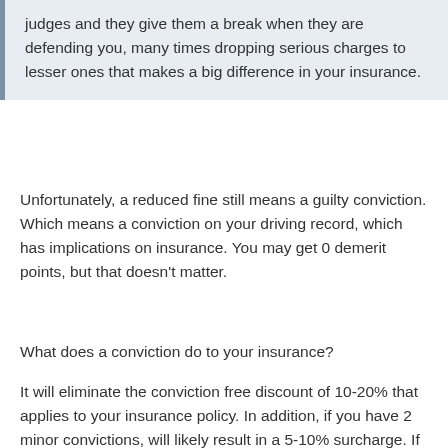judges and they give them a break when they are defending you, many times dropping serious charges to lesser ones that makes a big difference in your insurance.
Unfortunately, a reduced fine still means a guilty conviction. Which means a conviction on your driving record, which has implications on insurance. You may get 0 demerit points, but that doesn't matter.
What does a conviction do to your insurance?
It will eliminate the conviction free discount of 10-20% that applies to your insurance policy. In addition, if you have 2 minor convictions, will likely result in a 5-10% surcharge. If you have a major or serious conviction, it will result in a 20-30% surcharge. This is all regardless